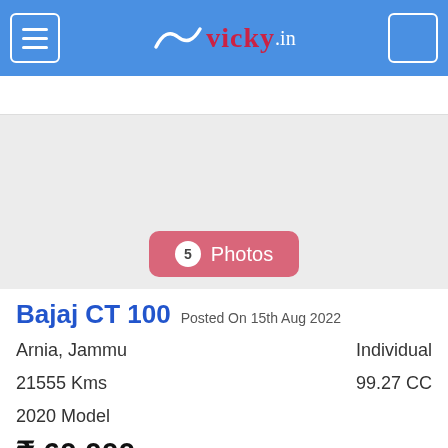vicky.in
[Figure (screenshot): Gray photo area placeholder showing motorcycle listing images area]
5 Photos
Bajaj CT 100  Posted On 15th Aug 2022
Arnia, Jammu   Individual
21555 Kms   99.27 CC
2020 Model
₹ 60,000